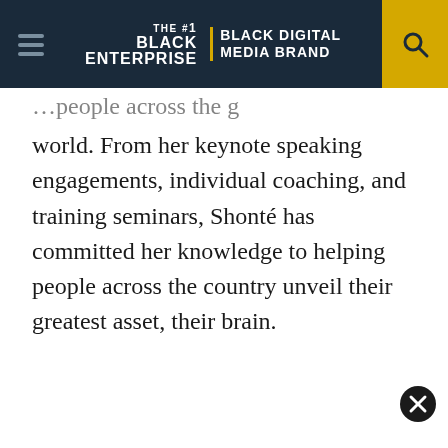BLACK ENTERPRISE THE #1 BLACK DIGITAL MEDIA BRAND
world. From her keynote speaking engagements, individual coaching, and training seminars, Shonté has committed her knowledge to helping people across the country unveil their greatest asset, their brain.